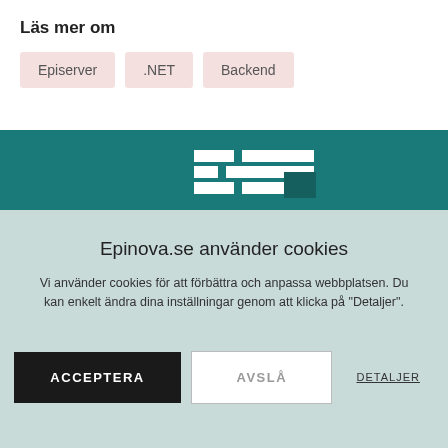Läs mer om
Episerver
.NET
Backend
[Figure (logo): Epinova/company logo in white on teal background, pixel-style design]
Epinova.se använder cookies
Vi använder cookies för att förbättra och anpassa webbplatsen. Du kan enkelt ändra dina inställningar genom att klicka på "Detaljer".
ACCEPTERA
AVSLÅ
DETALJER